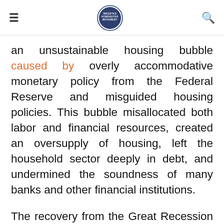≡  [INDEBTED HOMEBUYER MOVEMENT logo]  🔍
an unsustainable housing bubble caused by overly accommodative monetary policy from the Federal Reserve and misguided housing policies. This bubble misallocated both labor and financial resources, created an oversupply of housing, left the household sector deeply in debt, and undermined the soundness of many banks and other financial institutions.
The recovery from the Great Recession was slow and protracted because it took years to clean up the mess from the bursting of the housing bubble. Households slowly rebuilt their savings and cleaned up their balance sheets over years and years.